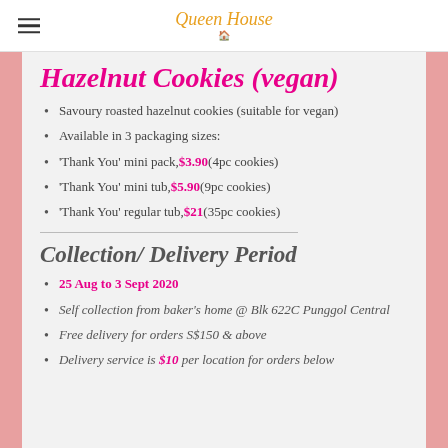Queen House Cookies
Hazelnut Cookies (vegan)
Savoury roasted hazelnut cookies (suitable for vegan)
Available in 3 packaging sizes:
'Thank You' mini pack, $3.90 (4pc cookies)
'Thank You' mini tub, $5.90 (9pc cookies)
'Thank You' regular tub, $21 (35pc cookies)
Collection/ Delivery Period
25 Aug to 3 Sept 2020
Self collection from baker's home @ Blk 622C Punggol Central
Free delivery for orders S$150 & above
Delivery service is $10 per location for orders below